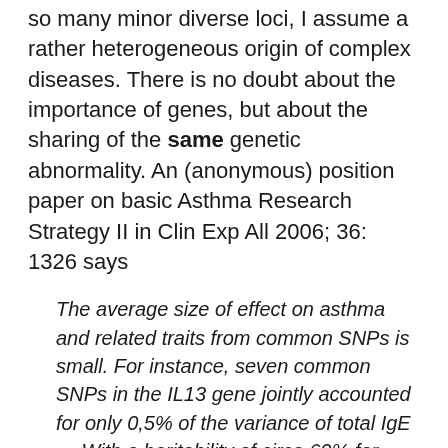so many minor diverse loci, I assume a rather heterogeneous origin of complex diseases. There is no doubt about the importance of genes, but about the sharing of the same genetic abnormality. An (anonymous) position paper on basic Asthma Research Strategy II in Clin Exp All 2006; 36: 1326 says
The average size of effect on asthma and related traits from common SNPs is small. For instance, seven common SNPs in the IL13 gene jointly accounted for only 0,5% of the variance of total IgE … With a heritability of circa 60% for total IgE this implies that hundreds of genes, each with small effects, may be involved in IgE regulation.
Families presenting with a complex system disease will all have unique patterns how they arrive at the same clinical endpoint. Alpha-delta-gamma asthma